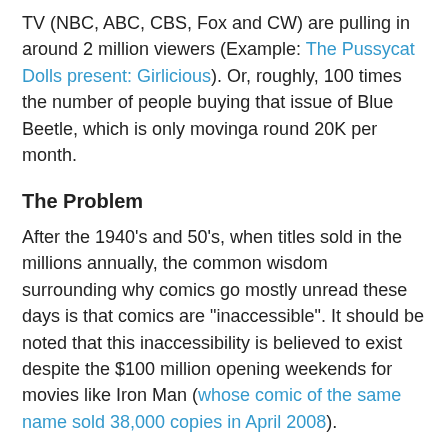TV (NBC, ABC, CBS, Fox and CW) are pulling in around 2 million viewers (Example: The Pussycat Dolls present: Girlicious). Or, roughly, 100 times the number of people buying that issue of Blue Beetle, which is only movinga round 20K per month.
The Problem
After the 1940's and 50's, when titles sold in the millions annually, the common wisdom surrounding why comics go mostly unread these days is that comics are "inaccessible". It should be noted that this inaccessibility is believed to exist despite the $100 million opening weekends for movies like Iron Man (whose comic of the same name sold 38,000 copies in April 2008).
The definition of "accessibility" in comic blogging parlance is (I guess): the complication a reader may experience while attempting to become engaged in a superhero comic narrative. This complication may be due to the intricate nature of a storyline and character(s) who have amassed considerable back story, which the reader may feel they